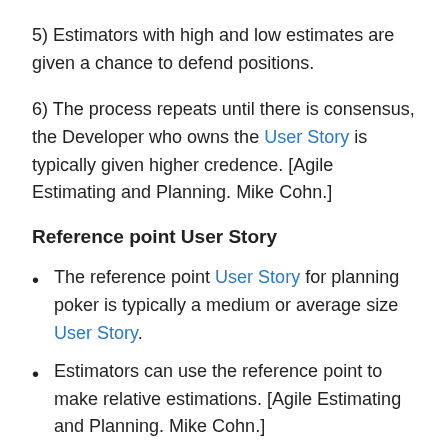5) Estimators with high and low estimates are given a chance to defend positions.
6) The process repeats until there is consensus, the Developer who owns the User Story is typically given higher credence. [Agile Estimating and Planning. Mike Cohn.]
Reference point User Story
The reference point User Story for planning poker is typically a medium or average size User Story.
Estimators can use the reference point to make relative estimations. [Agile Estimating and Planning. Mike Cohn.]